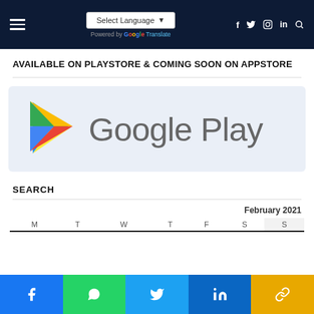Select Language | Social icons: f, Twitter, Instagram, in, Search
AVAILABLE ON PLAYSTORE & COMING SOON ON APPSTORE
[Figure (logo): Google Play logo with colorful triangle icon and 'Google Play' text on light blue background]
SEARCH
| M | T | W | T | F | S | S |
| --- | --- | --- | --- | --- | --- | --- |
Social share bar: Facebook, WhatsApp, Twitter, LinkedIn, Link